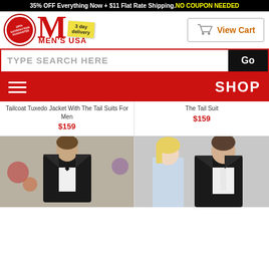35% OFF Everything Now + $11 Flat Rate Shipping. NO COUPON NEEDED
[Figure (logo): Men's USA logo with 100% satisfaction guarantee badge, large red M, 3 day delivery sticky note]
[Figure (screenshot): Shopping cart icon with View Cart link]
TYPE SEARCH HERE
Go
SHOP
Tailcoat Tuxedo Jacket With The Tail Suits For Men
$159
The Tail Suit
$159
[Figure (photo): Man in black tuxedo tailcoat with white shirt and black bow tie]
[Figure (photo): Couple with woman and man in black suit]